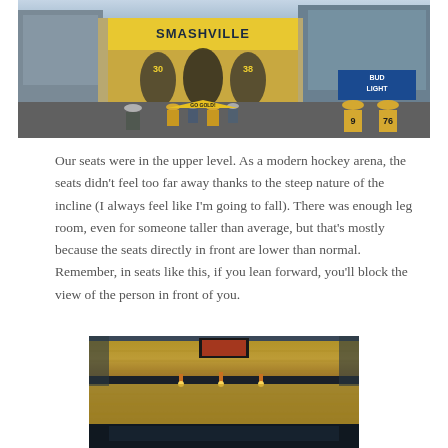[Figure (photo): Outdoor photo of hockey fans walking outside Bridgestone Arena in Nashville. Large 'Smashville' banner and player murals visible on the arena exterior. Bud Light signage and crowd of fans in yellow Nashville Predators jerseys.]
Our seats were in the upper level. As a modern hockey arena, the seats didn't feel too far away thanks to the steep nature of the incline (I always feel like I'm going to fall). There was enough leg room, even for someone taller than average, but that's mostly because the seats directly in front are lower than normal. Remember, in seats like this, if you lean forward, you'll block the view of the person in front of you.
[Figure (photo): Interior photo of an ice hockey arena taken from upper level seats, showing a packed crowd of fans in yellow Predators jerseys, the ice rink below, and arena lighting.]